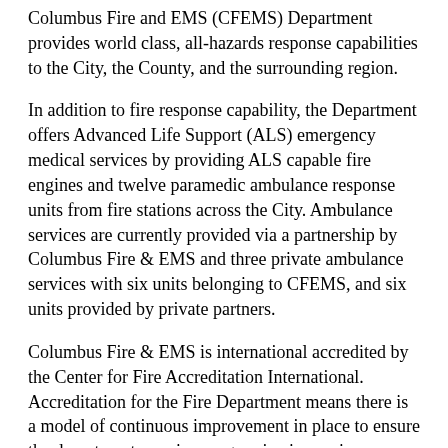Columbus Fire and EMS (CFEMS) Department provides world class, all-hazards response capabilities to the City, the County, and the surrounding region.
In addition to fire response capability, the Department offers Advanced Life Support (ALS) emergency medical services by providing ALS capable fire engines and twelve paramedic ambulance response units from fire stations across the City. Ambulance services are currently provided via a partnership by Columbus Fire & EMS and three private ambulance services with six units belonging to CFEMS, and six units provided by private partners.
Columbus Fire & EMS is international accredited by the Center for Fire Accreditation International. Accreditation for the Fire Department means there is a model of continuous improvement in place to ensure the department remains progressive in-service delivery. The Department obtained an Insurance Services Organization (ISO) Class 1 rating in 2017. This is the highest available rating that evaluates the City's capacity to respond to fire...